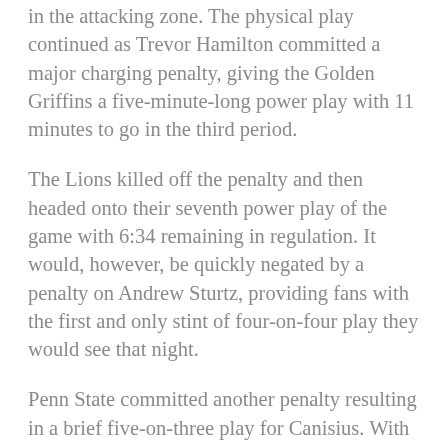in the attacking zone. The physical play continued as Trevor Hamilton committed a major charging penalty, giving the Golden Griffins a five-minute-long power play with 11 minutes to go in the third period.
The Lions killed off the penalty and then headed onto their seventh power play of the game with 6:34 remaining in regulation. It would, however, be quickly negated by a penalty on Andrew Sturtz, providing fans with the first and only stint of four-on-four play they would see that night.
Penn State committed another penalty resulting in a brief five-on-three play for Canisius. With only four minutes remaining, this would be the best chance of the game for the Golden Griffins to close the gap. Canisius once again failed to capitalize, ultimately